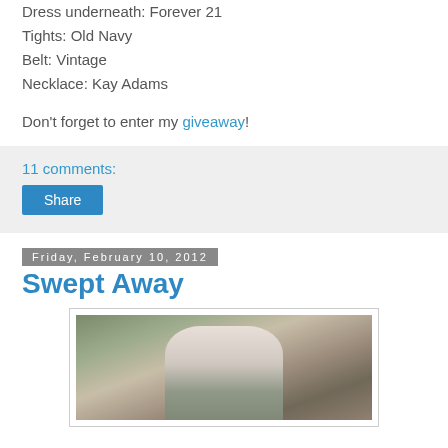Dress underneath: Forever 21
Tights: Old Navy
Belt: Vintage
Necklace: Kay Adams
Don't forget to enter my giveaway!
11 comments:
Share
Friday, February 10, 2012
Swept Away
[Figure (photo): A young woman with long brown hair sitting on a wooden swing bench next to a large tree, wearing a white top and grey skirt, outdoors in a park setting.]